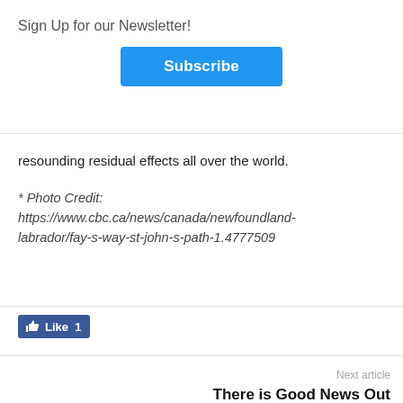Sign Up for our Newsletter!
Subscribe
resounding residual effects all over the world.
* Photo Credit: https://www.cbc.ca/news/canada/newfoundland-labrador/fay-s-way-st-john-s-path-1.4777509
Like 1
Next article
There is Good News Out There